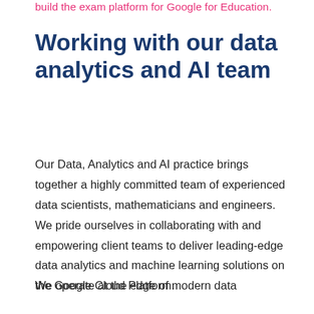build the exam platform for Google for Education.
Working with our data analytics and AI team
Our Data, Analytics and AI practice brings together a highly committed team of experienced data scientists, mathematicians and engineers. We pride ourselves in collaborating with and empowering client teams to deliver leading-edge data analytics and machine learning solutions on the Google Cloud Platform.
We operate at the edge of modern data